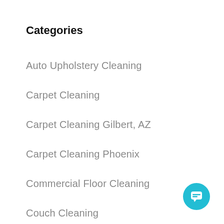Categories
Auto Upholstery Cleaning
Carpet Cleaning
Carpet Cleaning Gilbert, AZ
Carpet Cleaning Phoenix
Commercial Floor Cleaning
Couch Cleaning
COVID-19
Granite Cleaning